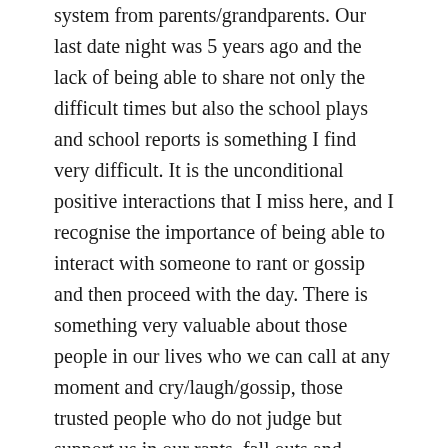system from parents/grandparents. Our last date night was 5 years ago and the lack of being able to share not only the difficult times but also the school plays and school reports is something I find very difficult. It is the unconditional positive interactions that I miss here, and I recognise the importance of being able to interact with someone to rant or gossip and then proceed with the day. There is something very valuable about those people in our lives who we can call at any moment and cry/laugh/gossip, those trusted people who do not judge but support us in our rants, fall outs and comical moments.
Its interesting to note that one of the first things that comes to mind...